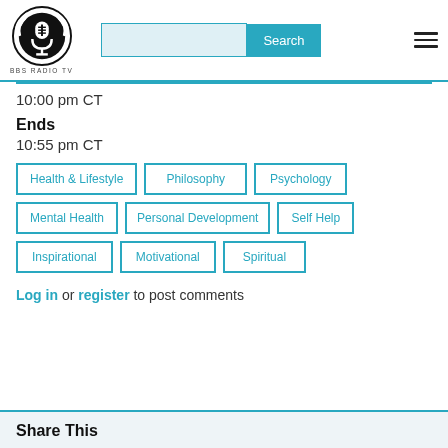[Figure (logo): BBS Radio TV logo - circular emblem with microphone/headset icon, black and white]
10:00 pm CT
Ends
10:55 pm CT
Health & Lifestyle
Philosophy
Psychology
Mental Health
Personal Development
Self Help
Inspirational
Motivational
Spiritual
Log in or register to post comments
Share This